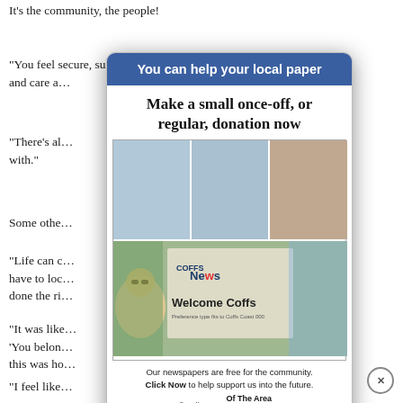It's the community, the people!
“You feel secure, surrounded by people who know you and care a…”
“There’s al… to share it with.”
Some othe…
“Life can c… ng to have to loc… ow we’ve done the ri…”
[Figure (infographic): Modal popup advertisement for 'Of The Area News' local paper. Blue header reads 'You can help your local paper'. Subheading: 'Make a small once-off, or regular, donation now'. Photos of people reading newspapers at the beach. Text: 'Our newspapers are free for the community. Click Now to help support us into the future.' Logo: 'Proudly Independent — Of The Area News'. Close button (x) at bottom right.]
“It was like… and said, ‘You belon… ing like this was ho…”
“I feel like…”